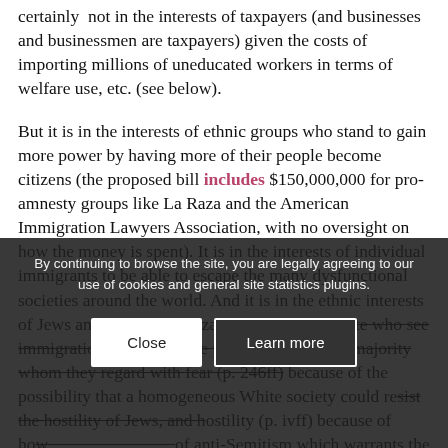certainly not in the interests of taxpayers (and businesses and businessmen are taxpayers) given the costs of importing millions of uneducated workers in terms of welfare use, etc. (see below).
But it is in the interests of ethnic groups who stand to gain more power by having more of their people become citizens (the proposed bill includes $150,000,000 for pro-amnesty groups like La Raza and the American Immigration Lawyers Association, with no oversight on how the money is spent). It is in the interests of individual immigrants to be able to escape the many dysfunctional societies around the world. And it is in the ethnic interests of Jews and Jewish organizations as a hostile elite who see immigration as diluting the power of the White majority whom they regard with fear (p. 246ff) because of the possibility that a homogeneous White society could resist the hostility of Jews, and hostility (p. ivff) because of how...[continues]...of anti-Semitism which warrants the dispossession of White,
By continuing to browse the site, you are legally agreeing to our use of cookies and general site statistics plugins.